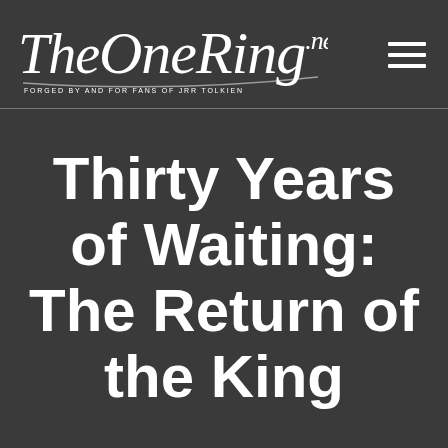TheOneRing.net — FORGED BY AND FOR FANS OF JRR TOLKIEN
Thirty Years of Waiting: The Return of the King